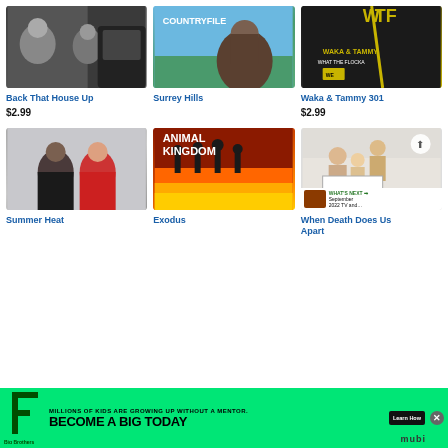[Figure (screenshot): Thumbnail for Back That House Up - two men near a car]
Back That House Up
$2.99
[Figure (screenshot): Thumbnail for Surrey Hills - Countryfile show with man outdoors]
Surrey Hills
[Figure (screenshot): Thumbnail for Waka & Tammy 301 - WE tv show]
Waka & Tammy 301
$2.99
[Figure (screenshot): Thumbnail for Summer Heat - two women]
Summer Heat
[Figure (screenshot): Thumbnail for Animal Kingdom - silhouettes against fire]
Exodus
[Figure (screenshot): Thumbnail for When Death Does Us Apart - family with sign, What's Next overlay]
When Death Does Us Apart
[Figure (screenshot): Advertisement banner - Big Brothers Big Sisters: Millions of kids are growing up without a mentor. Become a Big Today.]